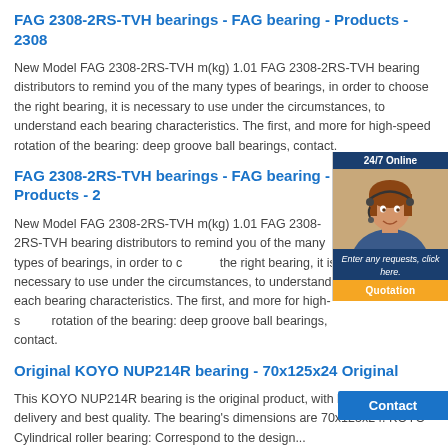FAG 2308-2RS-TVH bearings - FAG bearing - Products - 2308
New Model FAG 2308-2RS-TVH m(kg) 1.01 FAG 2308-2RS-TVH bearing distributors to remind you of the many types of bearings, in order to choose the right bearing, it is necessary to use under the circumstances, to understand each bearing characteristics. The first, and more for high-speed rotation of the bearing: deep groove ball bearings, contact.
FAG 2308-2RS-TVH bearings - FAG bearing - Products - 2...
New Model FAG 2308-2RS-TVH m(kg) 1.01 FAG 2308-2RS-TVH bearing distributors to remind you of the many types of bearings, in order to choose the right bearing, it is necessary to use under the circumstances, to understand each bearing characteristics. The first, and more for high-speed rotation of the bearing: deep groove ball bearings, contact.
[Figure (photo): Customer service chat widget with photo of woman wearing headset, 24/7 Online label, text 'Enter any requests, click here.' and Quotation button]
Original KOYO NUP214R bearing - 70x125x24 Original
This KOYO NUP214R bearing is the original product, with best price, fast delivery and best quality. The bearing's dimensions are 70x125x24. KOYO Cylindrical roller bearing: Correspond to the design...
Timken 570X/562X bearings - Timken bearing - Products
bearing Japan NSK SKF Sweden Japan TIMKEN Germany FAG INA Japan KOYO Nachi IKO TIMKEN 97472X/97905X bearing TIMKEN 97472X/97905X dimensions price, standard bearing - Jiangsu standard bearing on sale of page